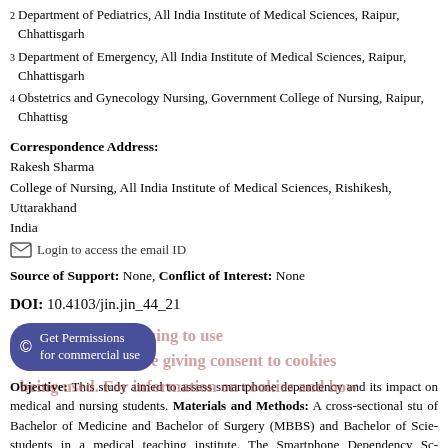2 Department of Pediatrics, All India Institute of Medical Sciences, Raipur, Chhattisgarh
3 Department of Emergency, All India Institute of Medical Sciences, Raipur, Chhattisgarh
4 Obstetrics and Gynecology Nursing, Government College of Nursing, Raipur, Chhattis
Correspondence Address:
Rakesh Sharma
College of Nursing, All India Institute of Medical Sciences, Rishikesh, Uttarakhand
India
Login to access the email ID
Source of Support: None, Conflict of Interest: None
DOI: 10.4103/jin.jin_44_21
[Figure (other): Get Permissions for commercial use button (copyright icon, dark blue/purple rounded button)]
Objective: This study aimed to assess smartphone dependency and its impact on medical and nursing students. Materials and Methods: A cross-sectional study of Bachelor of Medicine and Bachelor of Surgery (MBBS) and Bachelor of Science students in a medical teaching institute. The Smartphone Dependency Scale and questionnaire on impact of smartphone on academics were used to assess smartphone and its impact on academics. A total of 436 students were selected using the total sampling technique. Data were analyzed using the descriptive (frequency, percentage, standard deviation) and inferential (t-test, Chi-square test) statistics. Results: The mean age...